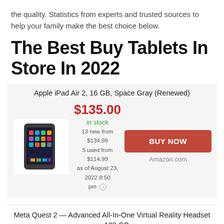the quality. Statistics from experts and trusted sources to help your family make the best choice below.
The Best Buy Tablets In Store In 2022
Apple iPad Air 2, 16 GB, Space Gray (Renewed)
[Figure (photo): Apple iPad Air 2 tablet in Space Gray color]
$135.00 in stock 13 new from $134.99 5 used from $114.99 as of August 23, 2022 8:50 pm
BUY NOW Amazon.com
Meta Quest 2 — Advanced All-In-One Virtual Reality Headset — 128 GB